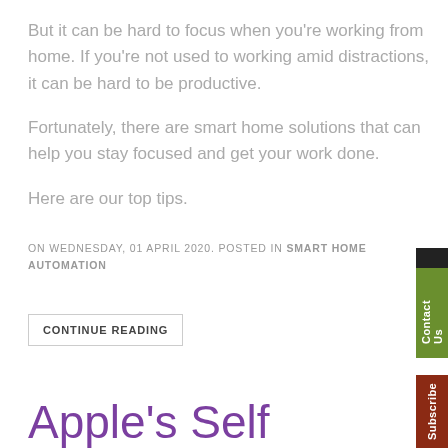But it can be hard to focus when you're working from home. If you're not used to working amid distractions, it can be hard to be productive.
Fortunately, there are smart home solutions that can help you stay focused and get your work done.
Here are our top tips.
ON WEDNESDAY, 01 APRIL 2020. POSTED IN SMART HOME AUTOMATION
CONTINUE READING
Apple's Self